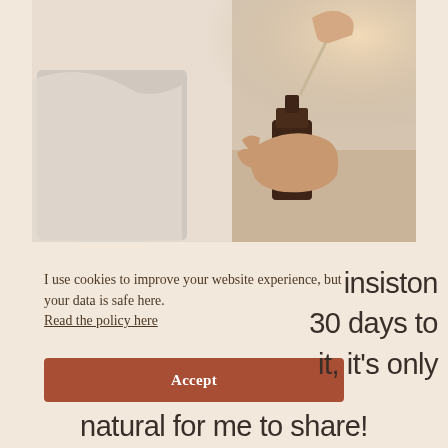[Figure (photo): A hand holding a glass dropper above a small dark amber glass bottle with a white circular label reading 'UNDER LUNA', placed on a wooden surface with a white ceramic vessel in the background.]
I use cookies to improve your website experience, but your data is safe here.
Read the policy here
Accept
insiston
30 days to
it, it's only
natural for me to share!